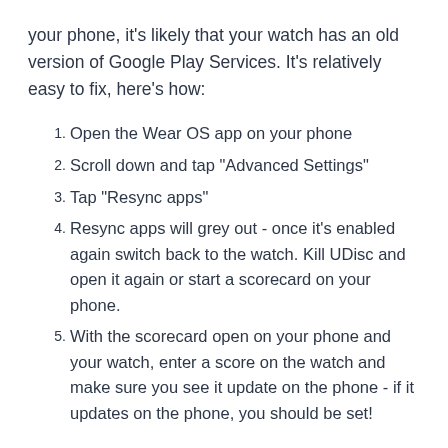your phone, it's likely that your watch has an old version of Google Play Services. It's relatively easy to fix, here's how:
Open the Wear OS app on your phone
Scroll down and tap "Advanced Settings"
Tap "Resync apps"
Resync apps will grey out - once it's enabled again switch back to the watch. Kill UDisc and open it again or start a scorecard on your phone.
With the scorecard open on your phone and your watch, enter a score on the watch and make sure you see it update on the phone - if it updates on the phone, you should be set!